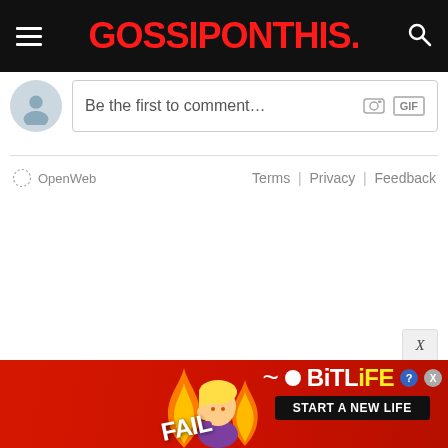GOSSIPONTHIS.
Be the first to comment...
OpenWeb   Terms | Privacy | Feedback
[Figure (screenshot): Advertisement banner for BitLife game showing FAIL text, cartoon character, fire graphics, and 'START A NEW LIFE' call to action with X close button]